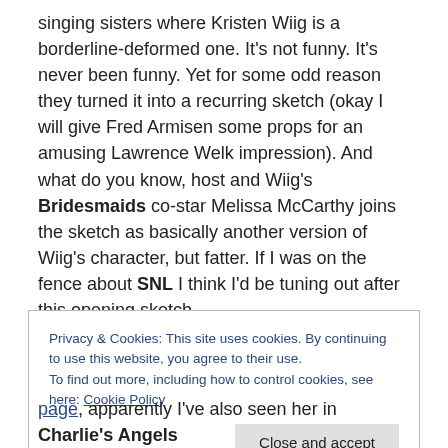singing sisters where Kristen Wiig is a borderline-deformed one. It's not funny. It's never been funny. Yet for some odd reason they turned it into a recurring sketch (okay I will give Fred Armisen some props for an amusing Lawrence Welk impression). And what do you know, host and Wiig's Bridesmaids co-star Melissa McCarthy joins the sketch as basically another version of Wiig's character, but fatter. If I was on the fence about SNL I think I'd be tuning out after this opening sketch.
Now I'm not overly familiar with Melissa McCarthy. I've
Privacy & Cookies: This site uses cookies. By continuing to use this website, you agree to their use.
To find out more, including how to control cookies, see here: Cookie Policy
Close and accept
page, apparently I've also seen her in Charlie's Angels